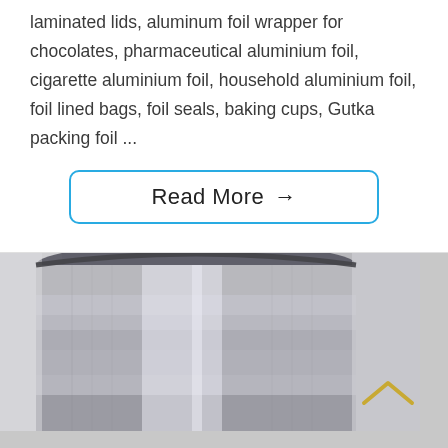laminated lids, aluminum foil wrapper for chocolates, pharmaceutical aluminium foil, cigarette aluminium foil, household aluminium foil, foil lined bags, foil seals, baking cups, Gutka packing foil ...
Read More →
[Figure (photo): Close-up photo of a shiny aluminum foil roll, showing the metallic silver surface with reflections. A yellow/gold upward-pointing caret (^) icon is visible in the bottom-right corner.]